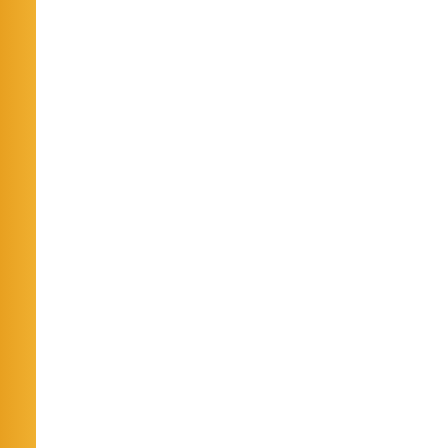| # | Date | Title |
| --- | --- | --- |
| 816. | 05/08/2015 | Question Bo... |
| 817. | 05/08/2015 | Question Bo... |
| 818. | 05/08/2015 | Question Bo... |
| 819. | 05/08/2015 | Question Bo... |
| 820. | 05/08/2015 | Question Bo... |
| 821. | 05/08/2015 | Question Bo... |
| 822. | 05/08/2015 | Question Bo... |
| 823. | 05/08/2015 | Question Bo... |
| 824. | 05/08/2015 | Question Bo... |
| 825. | 05/08/2015 | Question Bo... 2015 |
| 826. | 05/08/2015 | Question Bo... |
| 827. | 05/08/2015 | Question Bo... |
| 828. | 05/08/2015 | Question Bo... |
| 829. | 05/08/2015 | Question Bo... |
| 830. | 05/08/2015 | Question Bo... |
| 831. | 05/08/2015 | Question Bo... |